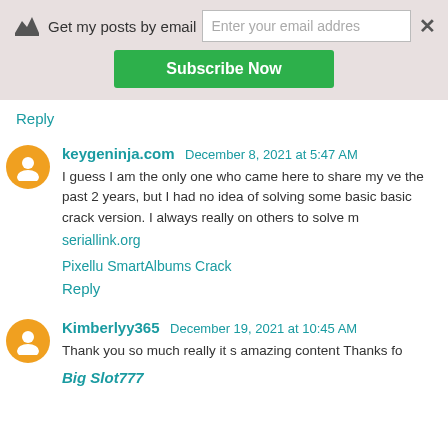[Figure (screenshot): Subscribe bar with crown icon, 'Get my posts by email' label, email input field, close button, and green 'Subscribe Now' button]
Reply
keygeninja.com December 8, 2021 at 5:47 AM
I guess I am the only one who came here to share my ve the past 2 years, but I had no idea of solving some basic basic crack version. I always really on others to solve m seriallink.org

Pixellu SmartAlbums Crack

Reply
Kimberlyy365 December 19, 2021 at 10:45 AM
Thank you so much really it s amazing content Thanks fo

Big Slot777